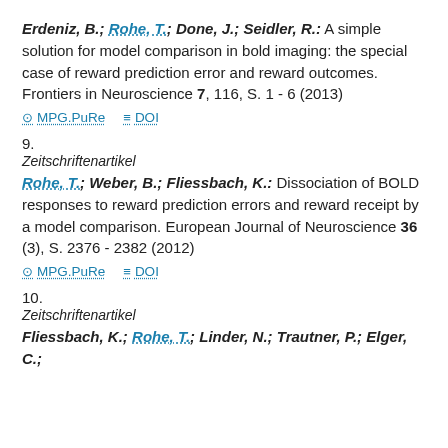Erdeniz, B.; Rohe, T.; Done, J.; Seidler, R.: A simple solution for model comparison in bold imaging: the special case of reward prediction error and reward outcomes. Frontiers in Neuroscience 7, 116, S. 1 - 6 (2013)
MPG.PuRe   DOI
9.
Zeitschriftenartikel
Rohe, T.; Weber, B.; Fliessbach, K.: Dissociation of BOLD responses to reward prediction errors and reward receipt by a model comparison. European Journal of Neuroscience 36 (3), S. 2376 - 2382 (2012)
MPG.PuRe   DOI
10.
Zeitschriftenartikel
Fliessbach, K.; Rohe, T.; Linder, N.; Trautner, P.; Elger, C.;